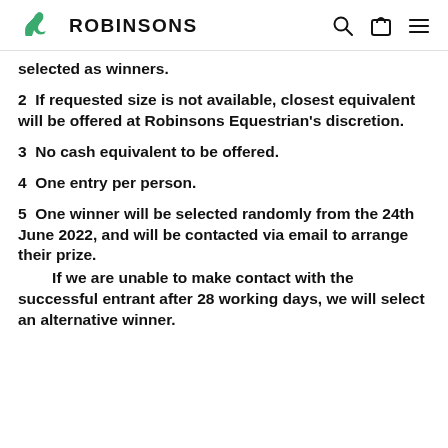ROBINSONS
selected as winners.
2  If requested size is not available, closest equivalent will be offered at Robinsons Equestrian's discretion.
3  No cash equivalent to be offered.
4  One entry per person.
5  One winner will be selected randomly from the 24th June 2022, and will be contacted via email to arrange their prize.
If we are unable to make contact with the successful entrant after 28 working days, we will select an alternative winner.